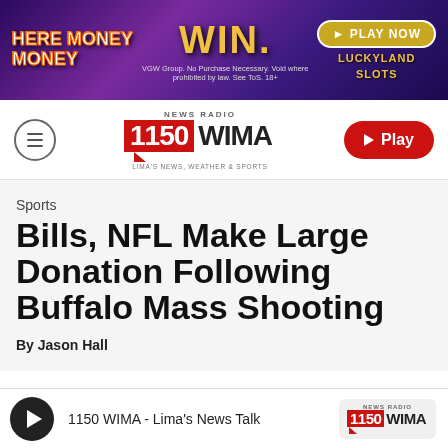[Figure (other): Advertisement banner for LuckyLand Slots: 'Here Money Money WIN. PLAY NOW LUCKYLAND SLOTS' with purple background and gold text. Disclaimer: 'VGW Group. No Purchase Necessary. Void where prohibited by law. See ToS. 18+']
[Figure (logo): News Radio 1150 WIMA logo with red background number block and navigation bar including hamburger menu and red Play button]
Sports
Bills, NFL Make Large Donation Following Buffalo Mass Shooting
By Jason Hall
[Figure (other): Audio player bar: play button, label '1150 WIMA - Lima's News Talk', and 1150 WIMA logo on the right]